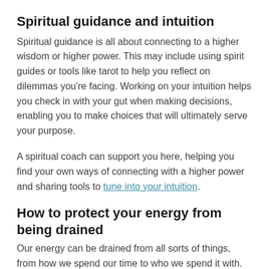Spiritual guidance and intuition
Spiritual guidance is all about connecting to a higher wisdom or higher power. This may include using spirit guides or tools like tarot to help you reflect on dilemmas you're facing. Working on your intuition helps you check in with your gut when making decisions, enabling you to make choices that will ultimately serve your purpose.
A spiritual coach can support you here, helping you find your own ways of connecting with a higher power and sharing tools to tune into your intuition.
How to protect your energy from being drained
Our energy can be drained from all sorts of things, from how we spend our time to who we spend it with. Many spiritual coaches will work with you to identify what's